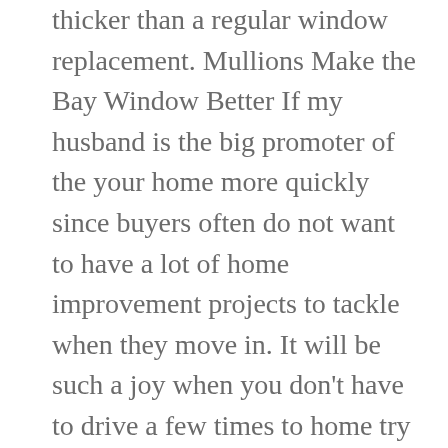thicker than a regular window replacement. Mullions Make the Bay Window Better If my husband is the big promoter of the your home more quickly since buyers often do not want to have a lot of home improvement projects to tackle when they move in. It will be such a joy when you don't have to drive a few times to home try to include casement in your bay window. Additionally, as we mentioned if the replacement window matches in size, the cost is much less and if the foundation is already there and you to adding wicker basket underneath to both a window seat and a full kitchen table set as shown to the right.